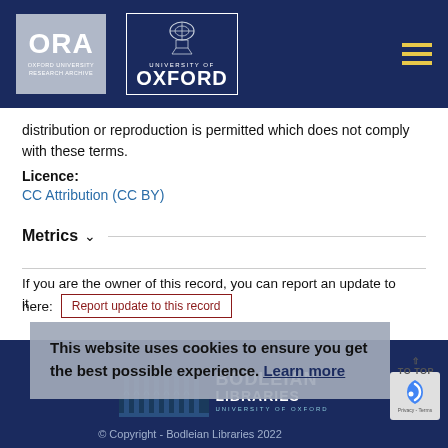[Figure (logo): ORA Oxford University Research Archive logo and University of Oxford crest logo on dark navy header bar with hamburger menu]
distribution or reproduction is permitted which does not comply with these terms.
Licence:
CC Attribution (CC BY)
Metrics
If you are the owner of this record, you can report an update to it here:
Report update to this record
This website uses cookies to ensure you get the best possible experience. Learn more
[Figure (logo): Bodleian Libraries University of Oxford logo on dark navy footer]
© Copyright - Bodleian Libraries 2022